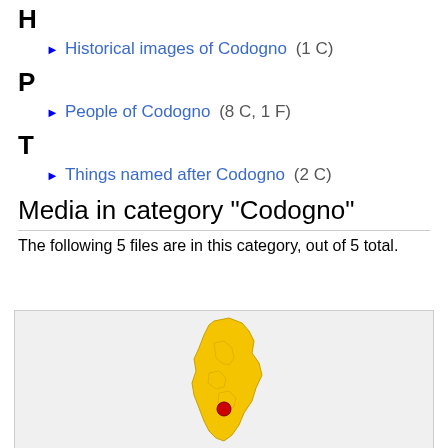► Historical images of Codogno (1 C)
P
► People of Codogno (8 C, 1 F)
T
► Things named after Codogno (2 C)
Media in category "Codogno"
The following 5 files are in this category, out of 5 total.
[Figure (map): Map showing Codogno highlighted in red within a yellow region (province/region map of Italy)]